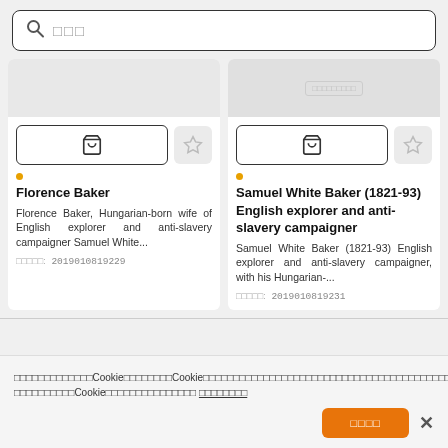[Figure (screenshot): Search bar with magnifying glass icon and placeholder text in Japanese/Chinese characters]
[Figure (screenshot): Product card for Florence Baker with cart button, favorite button, title, description, and ID 2019010819229]
[Figure (screenshot): Product card for Samuel White Baker (1821-93) English explorer and anti-slavery campaigner with cart button, favorite button, title, description, and ID 2019010819231]
Cookie notice bar with accept button and close button, text in Japanese/Chinese characters referencing Cookie policy